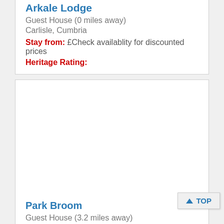Arkale Lodge
Guest House (0 miles away)
Carlisle, Cumbria
Stay from: £Check availablity for discounted prices
Heritage Rating:
Park Broom
Guest House (3.2 miles away)
Carlisle, Cumbria
Stay from: £45.00
Heritage Rating: